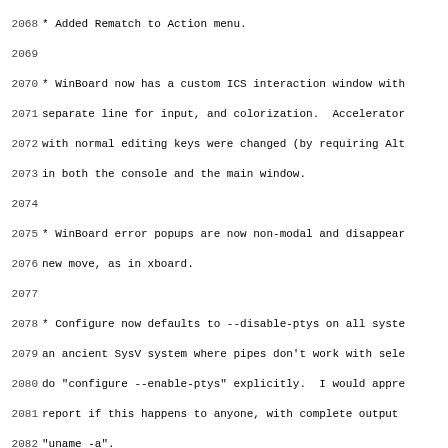2068 * Added Rematch to Action menu.
2069
2070 * WinBoard now has a custom ICS interaction window with
2071 separate line for input, and colorization.  Accelerator
2072 with normal editing keys were changed (by requiring Alt
2073 in both the console and the main window.
2074
2075 * WinBoard error popups are now non-modal and disappear
2076 new move, as in xboard.
2077
2078 * Configure now defaults to --disable-ptys on all syste
2079 an ancient SysV system where pipes don't work with sele
2080 do "configure --enable-ptys" explicitly.  I would appre
2081 report if this happens to anyone, with complete output
2082 "uname -a".
2083
2084 * "make install" now makes the installation directories
2085
2086 * Fixed a bug that would cause an "Illegal move" messag
2087 GNU Chess to be incorrectly considered bogus.
2088
2089 * Handle name changes during an ICS game (FICS bname ar
2090
2091 * You can force both chess programs to be killed at the
2092 by turning off the reuseChessPrograms option.  There ar
2093 problems with reusing Crafty even in version 11.20.
2094
2095 * Now the second chess program stays around by default
2096 gets started.
2097
2098 3.5.1 -- Sat Apr  5 16:47:48 PST 1997  Tim Mann
2099